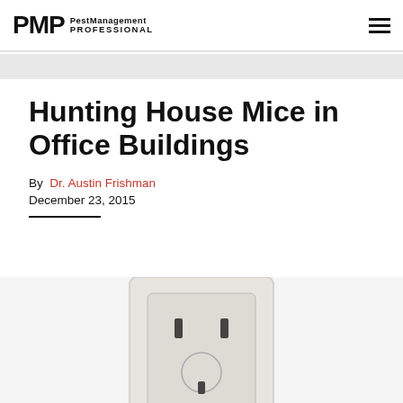PMP PestManagement PROFESSIONAL
Hunting House Mice in Office Buildings
By  Dr. Austin Frishman
December 23, 2015
[Figure (photo): Electrical wall outlet / power socket on a white plate, partially visible at bottom of page]